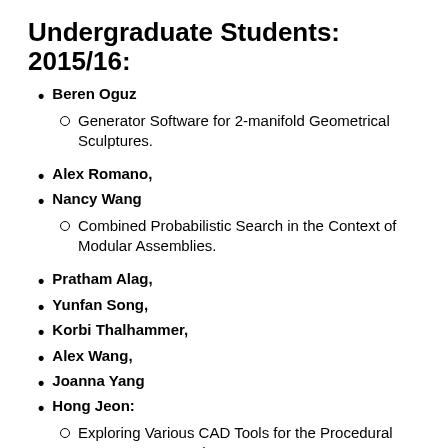Undergraduate Students:  2015/16:
Beren Oguz
Generator Software for 2-manifold Geometrical Sculptures.
Alex Romano,
Nancy Wang
Combined Probabilistic Search in the Context of Modular Assemblies.
Pratham Alag,
Yunfan Song,
Korbi Thalhammer,
Alex Wang,
Joanna Yang
Hong Jeon:
Exploring Various CAD Tools for the Procedural Geometry Generation.
Undergraduate Students: 2014/15: